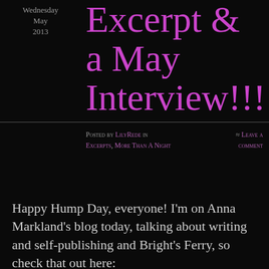Wednesday May 2013
EXCERPT & a May Interview!!!
Posted by LilyRede in Excerpts, More Than A Night   ≈ Leave a comment
Happy Hump Day, everyone!  I'm on Anna Markland's blog today, talking about writing and self-publishing and Bright's Ferry, so check that out here: